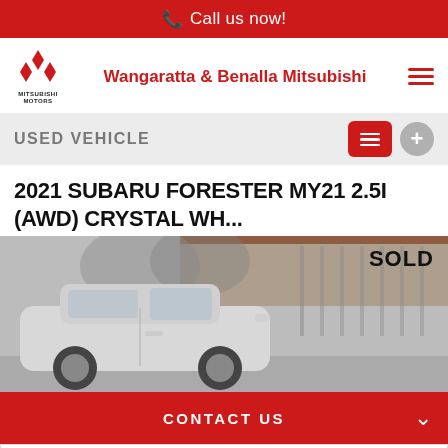Call us now!
Wangaratta & Benalla Mitsubishi
USED VEHICLE
2021 SUBARU FORESTER MY21 2.5I (AWD) CRYSTAL WH...
[Figure (photo): Photo of a white Subaru Forester SUV parked in front of a shed, shown in greyscale/muted tones. A 'SOLD' watermark appears in the top right of the image.]
CONTACT US
FINANCE THIS VEHICLE